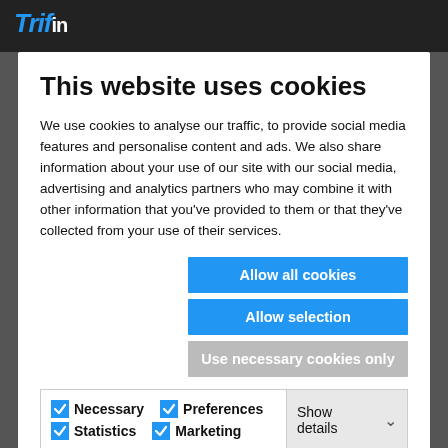This website uses cookies
We use cookies to analyse our traffic, to provide social media features and personalise content and ads. We also share information about your use of our site with our social media, advertising and analytics partners who may combine it with other information that you've provided to them or that they've collected from your use of their services.
Allow all cookies
Allow selection
Use necessary cookies only
Necessary | Preferences | Statistics | Marketing | Show details
CFDs
Downloads
News and blogs